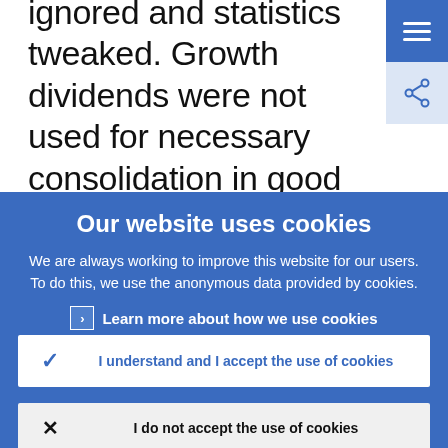ignored and statistics tweaked. Growth dividends were not used for necessary consolidation in good times. In the same vein, competitiveness positions worsened in many euro area countries, due to a lack
Our website uses cookies
We are always working to improve this website for our users. To do this, we use the anonymous data provided by cookies.
Learn more about how we use cookies
I understand and I accept the use of cookies
I do not accept the use of cookies